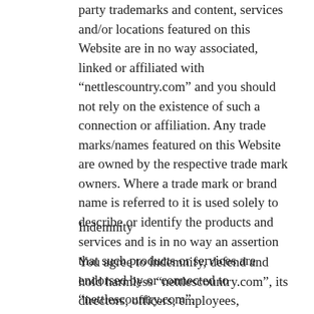party trademarks and content, services and/or locations featured on this Website are in no way associated, linked or affiliated with “nettlescountry.com” and you should not rely on the existence of such a connection or affiliation. Any trade marks/names featured on this Website are owned by the respective trade mark owners. Where a trade mark or brand name is referred to it is used solely to describe or identify the products and services and is in no way an assertion that such products or services are endorsed by or connected to “nettlescountry.com”.
Indemnity
You agree to indemnify, defend and hold harmless “nettlescountry.com”, its directors, officers, employees, consultants, agents, and affiliates